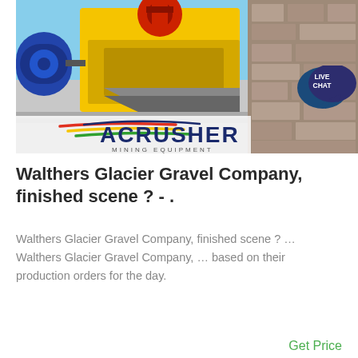[Figure (photo): Industrial mining/crushing equipment (yellow jaw crusher and blue motor) with stone wall background, and ACRUSHER MINING EQUIPMENT logo with multicolor swooshes at bottom of image.]
Walthers Glacier Gravel Company, finished scene ? - .
Walthers Glacier Gravel Company, finished scene ? ... Walthers Glacier Gravel Company, ... based on their production orders for the day.
Get Price